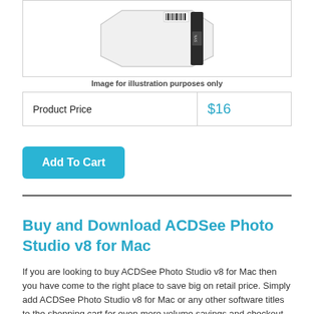[Figure (photo): Product image of a white network-attached storage or similar hardware device shown at an angle with barcode label visible]
Image for illustration purposes only
| Product Price | $16 |
Add To Cart
Buy and Download ACDSee Photo Studio v8 for Mac
If you are looking to buy ACDSee Photo Studio v8 for Mac then you have come to the right place to save big on retail price. Simply add ACDSee Photo Studio v8 for Mac or any other software titles to the shopping cart for even more volume savings and checkout easily.